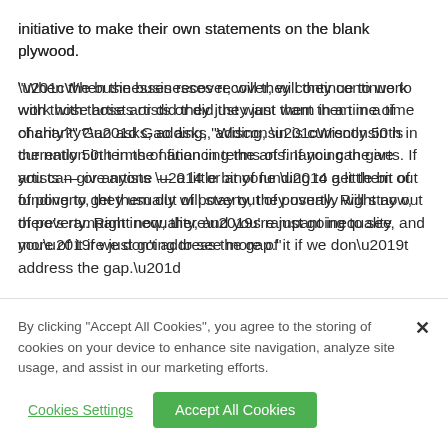initiative to make their own statements on the blank plywood.
“When the businesses recover, will they continue to work with those artists or did they just want them in a time of charity?” Gao asks, adding, “Wisconsin is currently 50th in the nation in terms of financing the arts. If you can give artists — or anyone — a little bit of funding to get them out of poverty, they usually will stay out of poverty. Right now, there’s rampant inequality, and you’re just going to see more of it if we don’t address the gap.”
By clicking “Accept All Cookies”, you agree to the storing of cookies on your device to enhance site navigation, analyze site usage, and assist in our marketing efforts.
Cookies Settings
Accept All Cookies